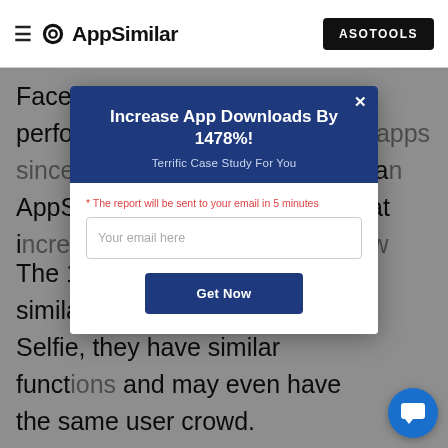AppSimilar — ASOTOOLS
Face X Play - Fancy Selfie has performed well in Entertainment apps since 2020-01-01 went live. As can... AppSi... 5K down... ing that i... sed, and a... ed or follow...
[Figure (screenshot): Modal popup with dark blue header titled 'Increase App Downloads By 1478%!' and subtitle 'Terrific Case Study For You', with an email input field and a 'Get Now' button]
The 15 apps listed below are all similar to Face X Play - Fancy Selfie, they have similar funct... and may even have the same user crowd.